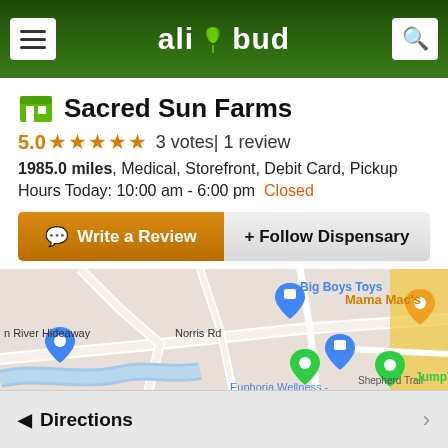allbud (navigation header with menu and search)
Sacred Sun Farms
5.0 ★★★★★ 3 votes| 1 review
1985.0 miles, Medical, Storefront, Debit Card, Pickup
Hours Today: 10:00 am - 6:00 pm  Closed
[Figure (screenshot): Map showing dispensary location near Bozeman MT with markers for Big Boys Toys, Euphoria Wellness - Bozeman Dispensary, Mama Mac's, JumpTime, and River Hideaway area. Street labels include Norris Rd and Shepherd Trail.]
323 Shepherd Trl Unit 12 12 , Bozeman, MT, 59718
Directions